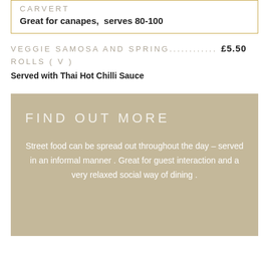CARVERT
Great for canapes,  serves 80-100
VEGGIE SAMOSA AND SPRING............ £5.50 ROLLS ( V )
Served with Thai Hot Chilli Sauce
FIND OUT MORE
Street food can be spread out throughout the day – served in an informal manner . Great for guest interaction and a very relaxed social way of dining .